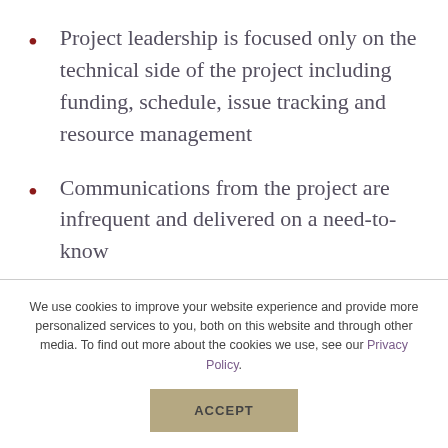Project leadership is focused only on the technical side of the project including funding, schedule, issue tracking and resource management
Communications from the project are infrequent and delivered on a need-to-know
We use cookies to improve your website experience and provide more personalized services to you, both on this website and through other media. To find out more about the cookies we use, see our Privacy Policy.